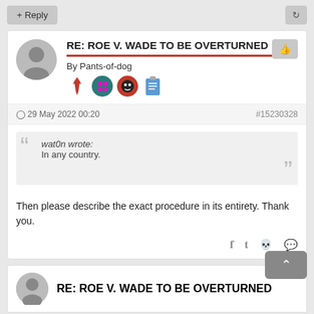RE: ROE V. WADE TO BE OVERTURNED
By Pants-of-dog
- 29 May 2022 00:20   #15230328
wat0n wrote:
In any country.
Then please describe the exact procedure in its entirety. Thank you.
RE: ROE V. WADE TO BE OVERTURNED